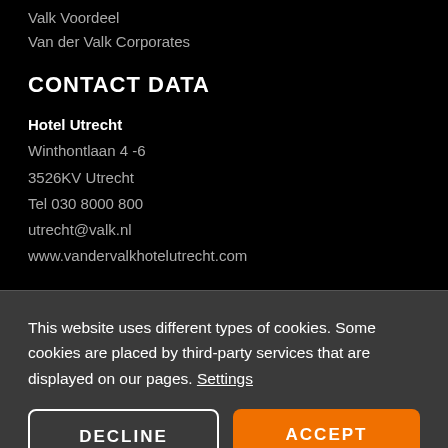Valk Voordeel
Van der Valk Corporates
CONTACT DATA
Hotel Utrecht
Winthontlaan 4 -6
3526KV Utrecht
Tel 030 8000 800
utrecht@valk.nl
www.vandervalkhotelutrecht.com
This website uses different types of cookies. Some cookies are placed by third-party services that are displayed on our pages. Settings
DECLINE
ACCEPT